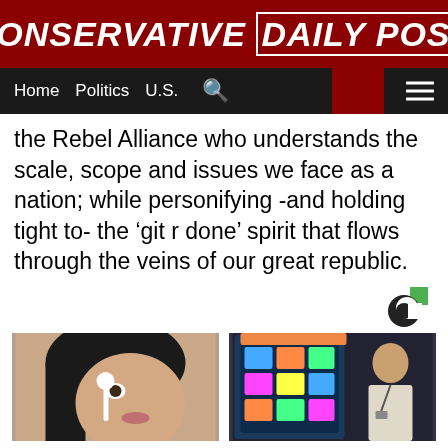CONSERVATIVE DAILY POST
Home  Politics  U.S.
the Rebel Alliance who understands the scale, scope and issues we face as a nation; while personifying -and holding tight to- the ‘git r done’ spirit that flows through the veins of our great republic.
[Figure (logo): Circular C logo with green accent, ad indicator]
[Figure (photo): Woman applying makeup with cotton pad to face]
REMOVING MOLES & SKIN TAGS HAS NEVER BEEN THIS
Healthier Living Tips
[Figure (photo): Slot machine screen with a man in suit standing beside it]
3 STEPS TO TELL A SLOT MIGHT BE CLOSE TO HITTING
BuzzDaily Winners